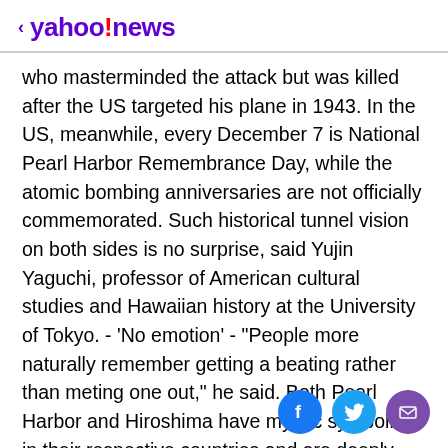< yahoo!news
who masterminded the attack but was killed after the US targeted his plane in 1943. In the US, meanwhile, every December 7 is National Pearl Harbor Remembrance Day, while the atomic bombing anniversaries are not officially commemorated. Such historical tunnel vision on both sides is no surprise, said Yujin Yaguchi, professor of American cultural studies and Hawaiian history at the University of Tokyo. - 'No emotion' - "People more naturally remember getting a beating rather than meting one out," he said. Both Pearl Harbor and Hiroshima have mythic symbolism in their respective countries and are deeply intertwined in historical justifications. Without Pearl Harbor there would have been no Hiroshima, goes
[Figure (other): Social media share buttons: Facebook, Twitter, Email]